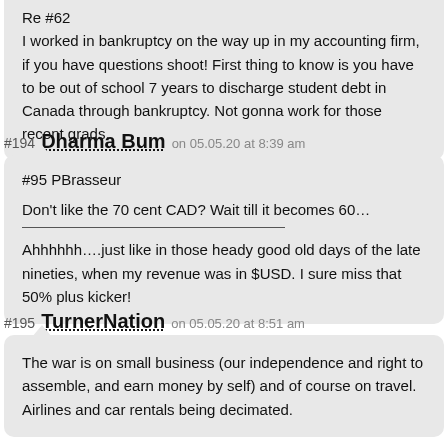Re #62
I worked in bankruptcy on the way up in my accounting firm, if you have questions shoot! First thing to know is you have to be out of school 7 years to discharge student debt in Canada through bankruptcy. Not gonna work for those recent grads.
#194 Dharma Bum on 05.05.20 at 8:39 am
#95 PBrasseur

Don't like the 70 cent CAD? Wait till it becomes 60…

Ahhhhhh….just like in those heady good old days of the late nineties, when my revenue was in $USD. I sure miss that 50% plus kicker!
#195 TurnerNation on 05.05.20 at 8:51 am
The war is on small business (our independence and right to assemble, and earn money by self) and of course on travel. Airlines and car rentals being decimated.